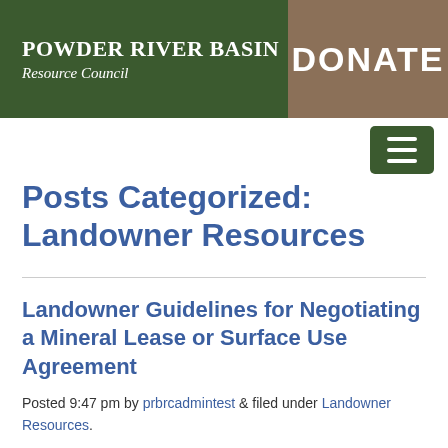Powder River Basin Resource Council | DONATE
Posts Categorized: Landowner Resources
Landowner Guidelines for Negotiating a Mineral Lease or Surface Use Agreement
Posted 9:47 pm by prbrcadmintest & filed under Landowner Resources.
The purpose of these guidelines is to provide helpful tips to landowners who are negotiating the use of their property from